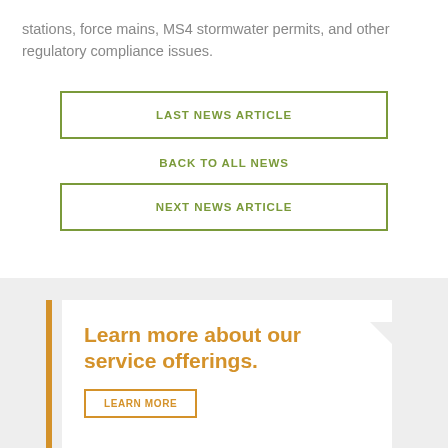stations, force mains, MS4 stormwater permits, and other regulatory compliance issues.
LAST NEWS ARTICLE
BACK TO ALL NEWS
NEXT NEWS ARTICLE
Learn more about our service offerings.